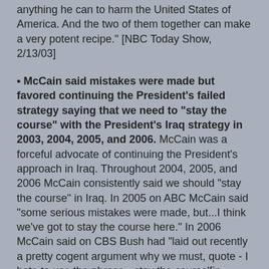anything he can to harm the United States of America. And the two of them together can make a very potent recipe." [NBC Today Show, 2/13/03]
• McCain said mistakes were made but favored continuing the President's failed strategy saying that we need to "stay the course" with the President's Iraq strategy in 2003, 2004, 2005, and 2006. McCain was a forceful advocate of continuing the President's approach in Iraq. Throughout 2004, 2005, and 2006 McCain consistently said we should "stay the course" in Iraq. In 2005 on ABC McCain said "some serious mistakes were made, but...I think we've got to stay the course here." In 2006 McCain said on CBS Bush had "laid out recently a pretty cogent argument why we must, quote - I hate to use the phrase - stay the course'[in Iraq.]" [NPR, 4/28/04. ABC News, 10/24/04. Fox, 8/14/05; ABC News, 9/25/05; CBS News, 6/29/05; The Hill, 12/8/05. MSNBC, 6/8/06. CBS News, 9/24/06]